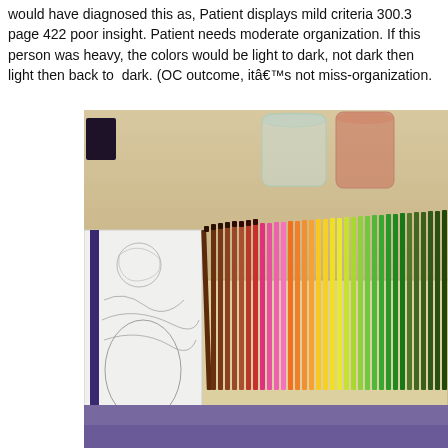would have diagnosed this as, Patient displays mild criteria 300.3 page 422 poor insight. Patient needs moderate organization. If this person was heavy, the colors would be light to dark, not dark then light then back to dark. (OC outcome, itâ€™s not miss-organization.
[Figure (photo): A photograph showing colored pencils arranged in a row from dark (browns/reds) to light (yellows/greens), alongside a decorative sketchbook/notebook, glass jars on a wooden surface, and another image below showing a purple fabric surface.]